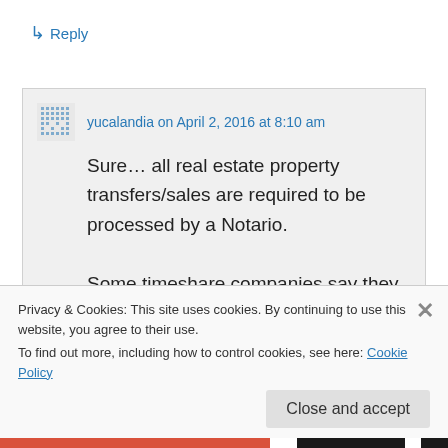↳ Reply
yucalandia on April 2, 2016 at 8:10 am
Sure… all real estate property transfers/sales are required to be processed by a Notario.

Some timeshare companies say they do not need to because it is the rights from a
Privacy & Cookies: This site uses cookies. By continuing to use this website, you agree to their use.
To find out more, including how to control cookies, see here: Cookie Policy
Close and accept